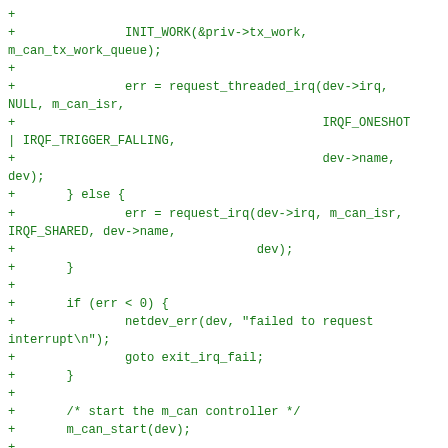[Figure (other): Source code diff (green lines with + prefix) showing C kernel code for m_can network driver: INIT_WORK, request_threaded_irq, request_irq, error handling, m_can_start, can_led_event, and napi_enable calls.]